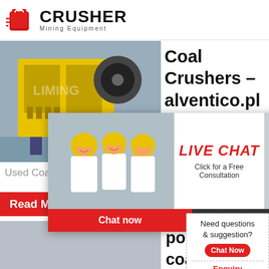[Figure (logo): Crusher Mining Equipment logo with red shopping bag icon and bold CRUSHER text]
[Figure (photo): Yellow industrial jaw crusher machine in a factory setting]
Coal Crushers - alventico.pl
24Hrs Online
Used Coal J...
[Figure (photo): Live chat popup overlay showing workers in hard hats and a customer service representative with headset. LIVE CHAT title with Click for a Free Consultation text]
Read M...
[Figure (photo): Portable coal crusher equipment working outdoors at a mine site]
porta... coal c...
Need questions & suggestion?
Chat Now
Enquiry
limingjlmofen@sina.com